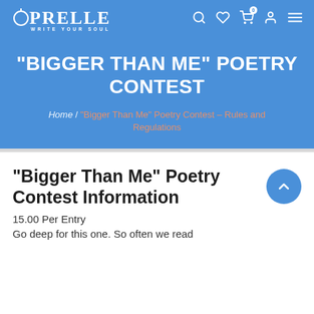OPRELLE WRITE YOUR SOUL
"BIGGER THAN ME" POETRY CONTEST
Home / "Bigger Than Me" Poetry Contest – Rules and Regulations
"Bigger Than Me" Poetry Contest Information
15.00 Per Entry
Go deep for this one. So often we read